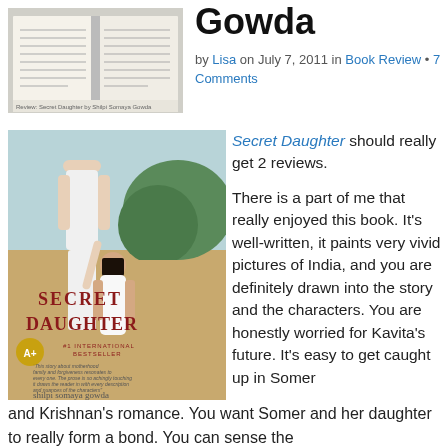[Figure (photo): Open book photo at top left, partial view, black and white]
Gowda
by Lisa on July 7, 2011 in Book Review • 7 Comments
[Figure (photo): Book cover of Secret Daughter by Shilpi Somaya Gowda, showing two females on a beach]
Secret Daughter should really get 2 reviews.

There is a part of me that really enjoyed this book. It's well-written, it paints very vivid pictures of India, and you are definitely drawn into the story and the characters. You are honestly worried for Kavita's future. It's easy to get caught up in Somer and Krishnan's romance. You want Somer and her daughter to really form a bond. You can sense the